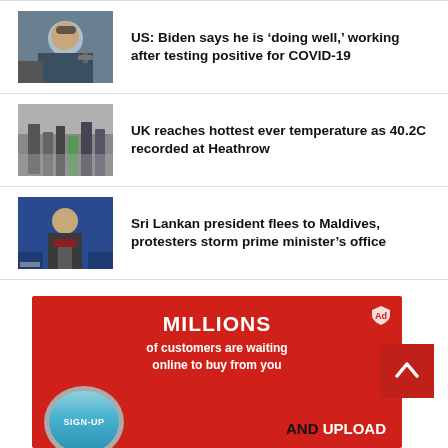[Figure (photo): Photo of President Biden at a podium with microphones, wearing sunglasses]
US: Biden says he is ‘doing well,’ working after testing positive for COVID-19
[Figure (photo): Photo of people walking on a street, possibly in UK during heatwave]
UK reaches hottest ever temperature as 40.2C recorded at Heathrow
[Figure (photo): Photo of Sri Lankan president at a podium with blue background]
Sri Lankan president flees to Maldives, protesters storm prime minister’s office
[Figure (infographic): Red advertisement banner: MILLIONS of customers are waiting online to buy from you. SIGN-UP button and AND UPLOAD text.]